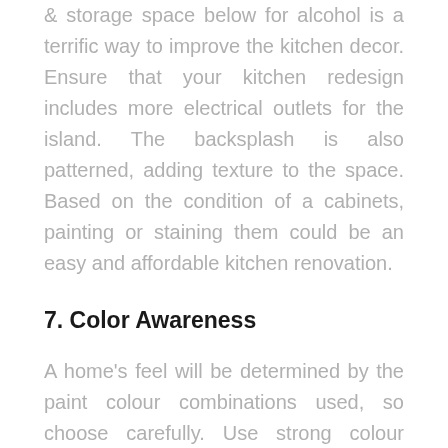& storage space below for alcohol is a terrific way to improve the kitchen decor. Ensure that your kitchen redesign includes more electrical outlets for the island. The backsplash is also patterned, adding texture to the space. Based on the condition of a cabinets, painting or staining them could be an easy and affordable kitchen renovation.
7. Color Awareness
A home's feel will be determined by the paint colour combinations used, so choose carefully. Use strong colour contrasts in your home makeover for a dramatic effect.